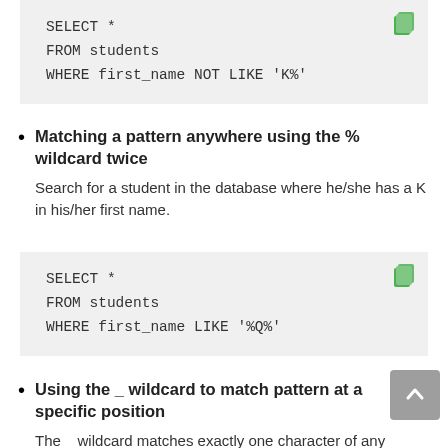[Figure (screenshot): Code block showing SQL: SELECT * FROM students WHERE first_name NOT LIKE 'K%']
Matching a pattern anywhere using the % wildcard twice
Search for a student in the database where he/she has a K in his/her first name.
[Figure (screenshot): Code block showing SQL: SELECT * FROM students WHERE first_name LIKE '%Q%']
Using the _ wildcard to match pattern at a specific position
The _ wildcard matches exactly one character of any type. It can be used in conjunction with % wildcard. This quer...